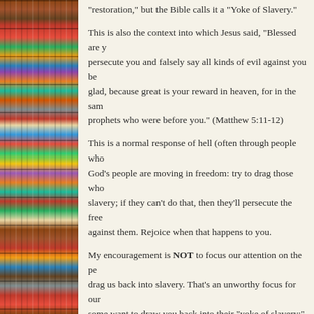[Figure (photo): A bookshelf filled with colorful books of various sizes, serving as the left-side background image.]
“restoration,” but the Bible calls it a “Yoke of Slavery.”
This is also the context into which Jesus said, “Blessed are you when people insult you, persecute you and falsely say all kinds of evil against you because of me. Rejoice and be glad, because great is your reward in heaven, for in the same way they persecuted the prophets who were before you.” (Matthew 5:11-12)
This is a normal response of hell (often through people who are in bondage) when God’s people are moving in freedom: try to drag those who are free back into slavery; if they can’t do that, then they’ll persecute the free and speak all kinds of evil against them. Rejoice when that happens to you.
My encouragement is NOT to focus our attention on the people who are trying to drag us back into slavery. That’s an unworthy focus for our attention. Be aware that some want to draw you back into their “yoke of slavery;” avoid those ditches on the side in the road, while we “[fix] our eyes on Jesus, the author and perfecter of faith” (Hebrews 12:2).
As you follow Him (who IS worthy of our attention!), He’ll “lead [you] in paths of righteousness for his name’s sake.” (Psalm 23:3) Trust the freedom that he has given you; it’s for freedom that he has set us free!